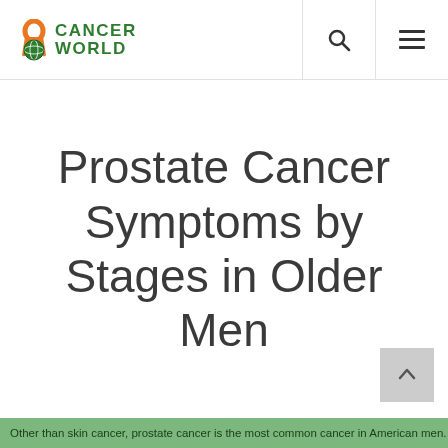[Figure (logo): Cancer World logo with green ribbon and globe icon, green text reading CANCER WORLD]
Prostate Cancer Symptoms by Stages in Older Men
Other than skin cancer, prostate cancer is the most common cancer in American men.